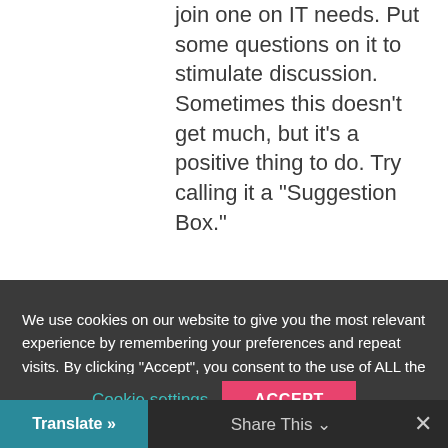join one on IT needs. Put some questions on it to stimulate discussion. Sometimes this doesn't get much, but it's a positive thing to do. Try calling it a "Suggestion Box."
We use cookies on our website to give you the most relevant experience by remembering your preferences and repeat visits. By clicking "Accept", you consent to the use of ALL the cookies. However you may visit Cookie Settings to provide a controlled consent.
Cookie settings
ACCEPT
Translate »
Share This
✕